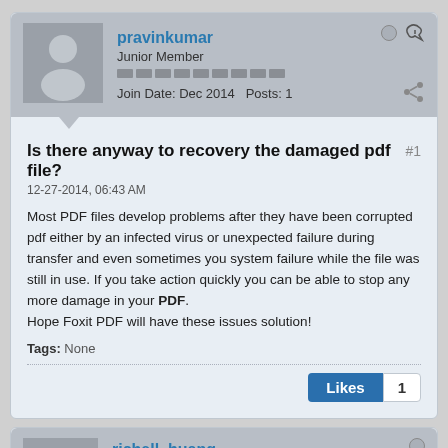[Figure (screenshot): User avatar silhouette for pravinkumar]
pravinkumar
Junior Member
Join Date: Dec 2014  Posts: 1
Is there anyway to recovery the damaged pdf file?
12-27-2014, 06:43 AM
Most PDF files develop problems after they have been corrupted pdf either by an infected virus or unexpected failure during transfer and even sometimes you system failure while the file was still in use. If you take action quickly you can be able to stop any more damage in your PDF.
Hope Foxit PDF will have these issues solution!
Tags: None
Likes 1
[Figure (screenshot): User avatar silhouette for richell_huang]
richell_huang
Super Moderator
Join Date: Dec 2011  Posts: 1633